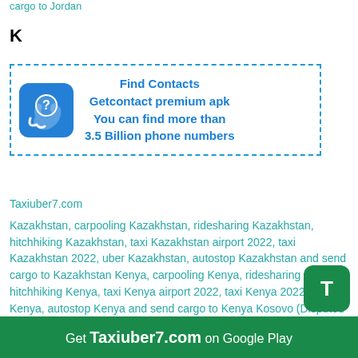cargo to Jordan
K
[Figure (other): Advertisement box with dashed blue border. Contains a blue app icon (phone with question mark) and text: Find Contacts / Getcontact premium apk / You can find more than / 3.5 Billion phone numbers]
Taxiuber7.com
Kazakhstan, carpooling Kazakhstan, ridesharing Kazakhstan, hitchhiking Kazakhstan, taxi Kazakhstan airport 2022, taxi Kazakhstan 2022, uber Kazakhstan, autostop Kazakhstan and send cargo to Kazakhstan Kenya, carpooling Kenya, ridesharing Kenya, hitchhiking Kenya, taxi Kenya airport 2022, taxi Kenya 2022, uber Kenya, autostop Kenya and send cargo to Kenya Kosovo (Disputed Territory), carpooling Kosovo (Disputed Territory), ridesharing Kosovo (Disputed Territory), hitchhiking Kosovo (Disputed Territory), taxi Kosovo (Disputed Territory) airport 2022, taxi Kosovo (Disputed Territory) 2022, uber Kosovo
Get Taxiuber7.com on Google Play